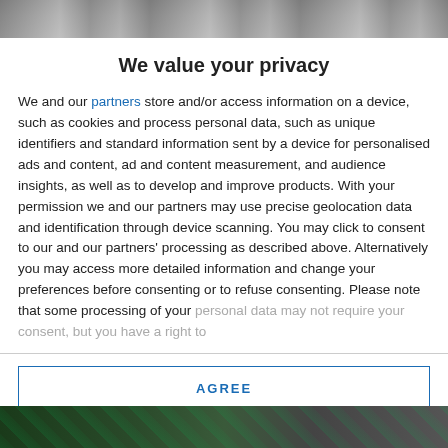[Figure (photo): Top banner image, partially visible, showing a dark scene]
We value your privacy
We and our partners store and/or access information on a device, such as cookies and process personal data, such as unique identifiers and standard information sent by a device for personalised ads and content, ad and content measurement, and audience insights, as well as to develop and improve products. With your permission we and our partners may use precise geolocation data and identification through device scanning. You may click to consent to our and our partners' processing as described above. Alternatively you may access more detailed information and change your preferences before consenting or to refuse consenting. Please note that some processing of your personal data may not require your consent, but you have a right to
AGREE
MORE OPTIONS
[Figure (photo): Bottom banner image, partially visible, showing a dark green scene]